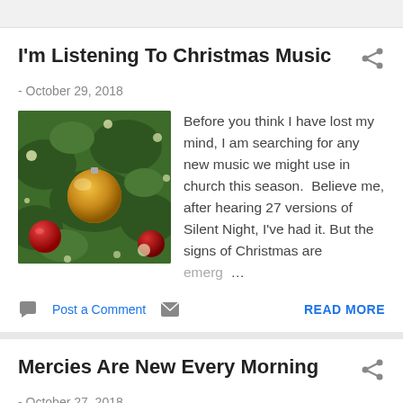I'm Listening To Christmas Music
- October 29, 2018
[Figure (photo): Close-up of Christmas tree with ornaments including a large gold/orange ball and red baubles, with bokeh lights in background]
Before you think I have lost my mind, I am searching for any new music we might use in church this season. Believe me, after hearing 27 versions of Silent Night, I've had it. But the signs of Christmas are emerg…
Post a Comment
READ MORE
Mercies Are New Every Morning
- October 27, 2018